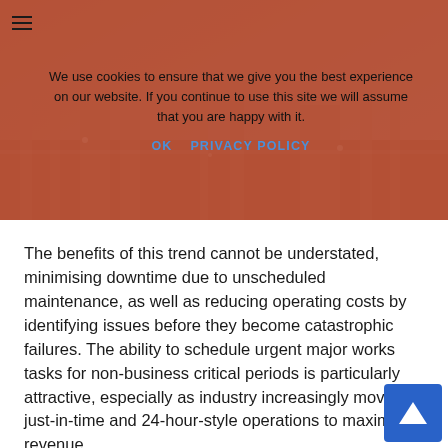[Figure (photo): Industrial/facility background image visible behind cookie overlay, dark blue tones with orange tint overlay]
We use cookies to ensure that we give you the best experience on our website. If you continue to use this site we will assume that you are happy with it.
OK   PRIVACY POLICY
The benefits of this trend cannot be understated, minimising downtime due to unscheduled maintenance, as well as reducing operating costs by identifying issues before they become catastrophic failures. The ability to schedule urgent major works tasks for non-business critical periods is particularly attractive, especially as industry increasingly moves to just-in-time and 24-hour-style operations to maximise revenue.
Overall, 2019 is likely to see considerable evolution across these key areas, and while many early adopters are firmly entrenched in their verticals, these sectors are